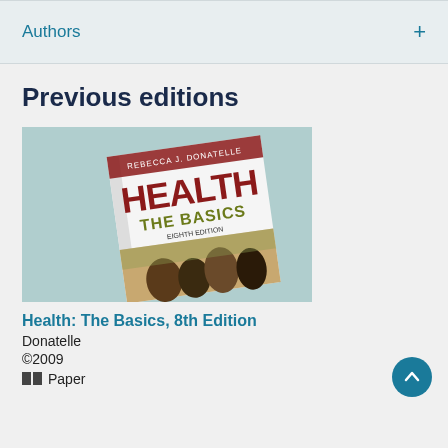Authors
Previous editions
[Figure (photo): Book cover of 'Health: The Basics' by Rebecca J. Donatelle, 8th Edition, showing the title in large red and olive text on a teal background with a photo of students.]
Health: The Basics, 8th Edition
Donatelle
©2009
Paper